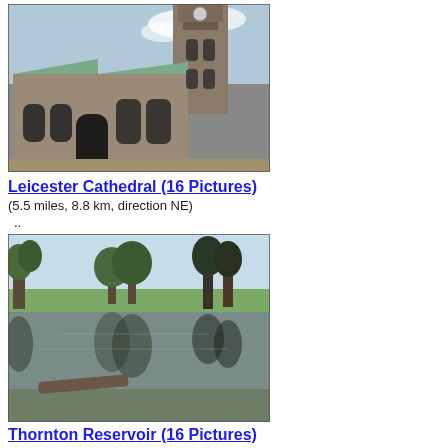[Figure (photo): Photo of Leicester Cathedral exterior showing stone Gothic architecture with tower]
Leicester Cathedral (16 Pictures)
(5.5 miles, 8.8 km, direction NE)
..
[Figure (photo): Photo of a pond or reservoir with trees reflected in the water]
Thornton Reservoir (16 Pictures)